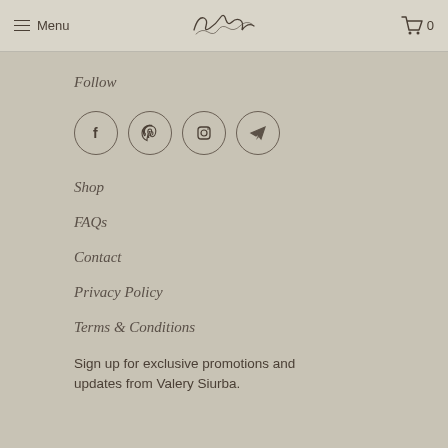Menu  [logo: Valery Siurba]  0
Follow
[Figure (illustration): Four circular social media icons: Facebook (f), Pinterest (P), Instagram (camera), and Telegram (paper plane), each in a circle outline.]
Shop
FAQs
Contact
Privacy Policy
Terms & Conditions
Sign up for exclusive promotions and updates from Valery Siurba.